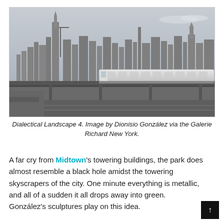[Figure (photo): Black and white photograph of the New York City skyline with a modern white train/monorail in the foreground running along an elevated track. The iconic skyscrapers including the Empire State Building and Chrysler Building are visible in the background under a cloudy sky.]
Dialectical Landscape 4. Image by Dionisio González via the Galerie Richard New York.
A far cry from Midtown's towering buildings, the park does almost resemble a black hole amidst the towering skyscrapers of the city. One minute everything is metallic, and all of a sudden it all drops away into green. González's sculptures play on this idea.